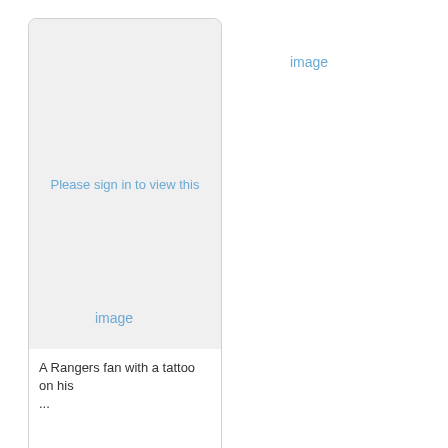[Figure (photo): Image placeholder card with 'Please sign in to view this' message and caption 'A Rangers fan with a tattoo on his ...']
A Rangers fan with a tattoo on his ...
image
image